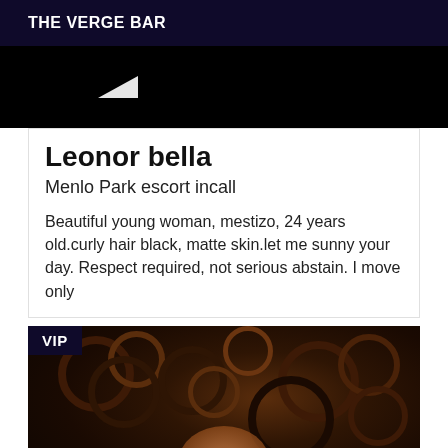THE VERGE BAR
[Figure (photo): Partial dark image with white streak/shape visible against black background]
Leonor bella
Menlo Park escort incall
Beautiful young woman, mestizo, 24 years old.curly hair black, matte skin.let me sunny your day. Respect required, not serious abstain. I move only
[Figure (photo): Close-up photo of a woman with very curly dark brown/black hair, face partially visible at bottom, with a VIP badge overlay in top-left corner]